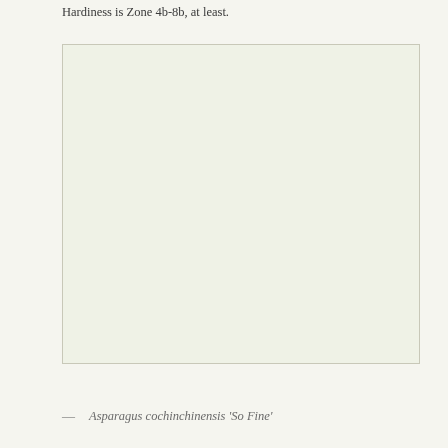Hardiness is Zone 4b-8b, at least.
[Figure (photo): Blank/placeholder image area with light green-white background, representing a plant photo of Asparagus cochinchinensis 'So Fine']
— Asparagus cochinchinensis ‘So Fine’